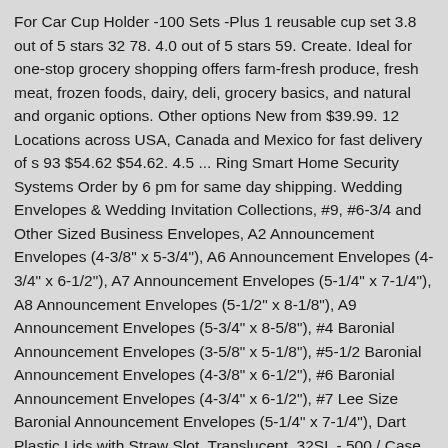For Car Cup Holder -100 Sets -Plus 1 reusable cup set 3.8 out of 5 stars 32 78. 4.0 out of 5 stars 59. Create. Ideal for one-stop grocery shopping offers farm-fresh produce, fresh meat, frozen foods, dairy, deli, grocery basics, and natural and organic options. Other options New from $39.99. 12 Locations across USA, Canada and Mexico for fast delivery of s 93 $54.62 $54.62. 4.5 ... Ring Smart Home Security Systems Order by 6 pm for same day shipping. Wedding Envelopes & Wedding Invitation Collections, #9, #6-3/4 and Other Sized Business Envelopes, A2 Announcement Envelopes (4-3/8" x 5-3/4"), A6 Announcement Envelopes (4-3/4" x 6-1/2"), A7 Announcement Envelopes (5-1/4" x 7-1/4"), A8 Announcement Envelopes (5-1/2" x 8-1/8"), A9 Announcement Envelopes (5-3/4" x 8-5/8"), #4 Baronial Announcement Envelopes (3-5/8" x 5-1/8"), #5-1/2 Baronial Announcement Envelopes (4-3/8" x 6-1/2"), #6 Baronial Announcement Envelopes (4-3/4" x 6-1/2"), #7 Lee Size Baronial Announcement Envelopes (5-1/4" x 7-1/4"), Dart Plastic Lids with Straw Slot, Translucent, 32SL - 500 / Case, Dart Dome Coffee Lids, White, 16EL - 1000 / Case, Solo 20 oz Bare Plastic Cold Cup